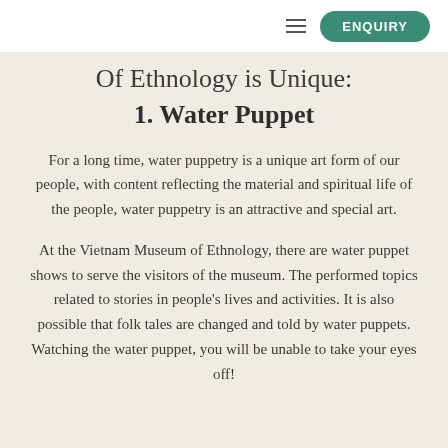ENQUIRY
Of Ethnology is Unique:
1. Water Puppet
For a long time, water puppetry is a unique art form of our people, with content reflecting the material and spiritual life of the people, water puppetry is an attractive and special art.
At the Vietnam Museum of Ethnology, there are water puppet shows to serve the visitors of the museum. The performed topics related to stories in people's lives and activities. It is also possible that folk tales are changed and told by water puppets. Watching the water puppet, you will be unable to take your eyes off!